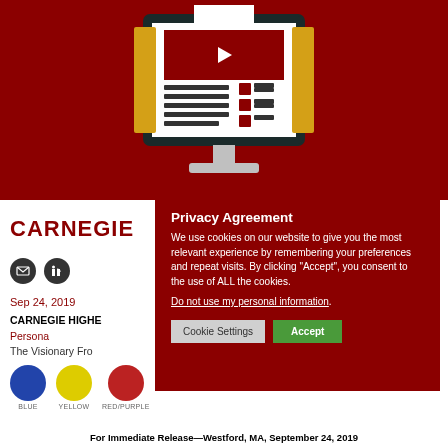[Figure (illustration): Dark red banner background with a computer monitor illustration showing a webpage with a video thumbnail, text lines, and checkboxes. The computer has a gold/yellow book-like element on each side.]
CARNEGIE
[Figure (illustration): Two social media icon circles: email (envelope) and LinkedIn]
Sep 24, 2019
CARNEGIE HIGHE
Persona
The Visionary Fro
[Figure (illustration): Three color swatches: BLUE circle, YELLOW circle, RED/PURPLE circle with labels below]
Privacy Agreement
We use cookies on our website to give you the most relevant experience by remembering your preferences and repeat visits. By clicking “Accept”, you consent to the use of ALL the cookies.
Do not use my personal information.
Cookie Settings
Accept
For Immediate Release—Westford, MA, September 24, 2019